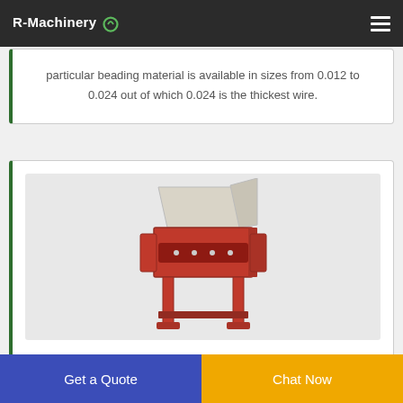R-Machinery
particular beading material is available in sizes from 0.012 to 0.024 out of which 0.024 is the thickest wire.
[Figure (photo): Industrial shredder/granulator machine with red frame and legs, beige hopper on top, photographed on white background]
China 99.95 Pure Metal Top Quality L Supplier Millberrry
Get a Quote
Chat Now